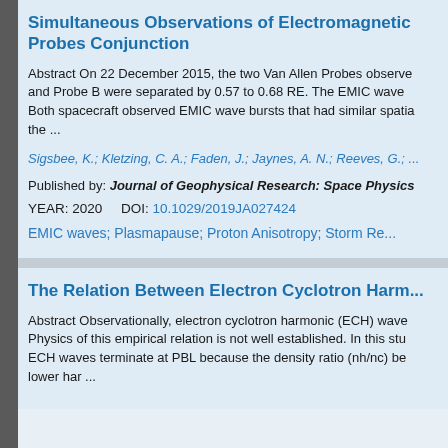Simultaneous Observations of Electromagnetic Probes Conjunction
Abstract On 22 December 2015, the two Van Allen Probes observed and Probe B were separated by 0.57 to 0.68 RE. The EMIC wave Both spacecraft observed EMIC wave bursts that had similar spatial the ...
Sigsbee, K.; Kletzing, C. A.; Faden, J.; Jaynes, A. N.; Reeves, G.; ...
Published by: Journal of Geophysical Research: Space Physics
YEAR: 2020    DOI: 10.1029/2019JA027424
EMIC waves; Plasmapause; Proton Anisotropy; Storm Re...
The Relation Between Electron Cyclotron Harm...
Abstract Observationally, electron cyclotron harmonic (ECH) waves Physics of this empirical relation is not well established. In this study ECH waves terminate at PBL because the density ratio (nh/nc) be lower har ...